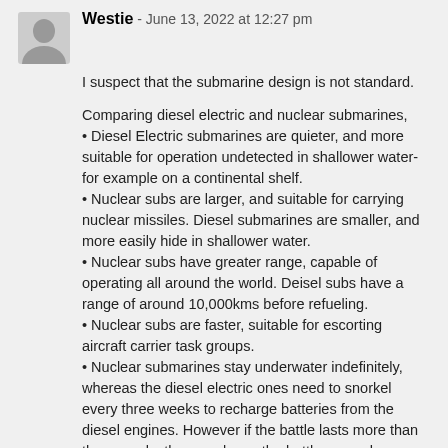Westie - June 13, 2022 at 12:27 pm
I suspect that the submarine design is not standard.
Comparing diesel electric and nuclear submarines,
• Diesel Electric submarines are quieter, and more suitable for operation undetected in shallower water- for example on a continental shelf.
• Nuclear subs are larger, and suitable for carrying nuclear missiles. Diesel submarines are smaller, and more easily hide in shallower water.
• Nuclear subs have greater range, capable of operating all around the world. Deisel subs have a range of around 10,000kms before refueling.
• Nuclear subs are faster, suitable for escorting aircraft carrier task groups.
• Nuclear submarines stay underwater indefinitely, whereas the diesel electric ones need to snorkel every three weeks to recharge batteries from the diesel engines. However if the battle lasts more than three weeks they can leave the battle area, charge up, and come back.
• Diesel electric submarines are cheaper, and you